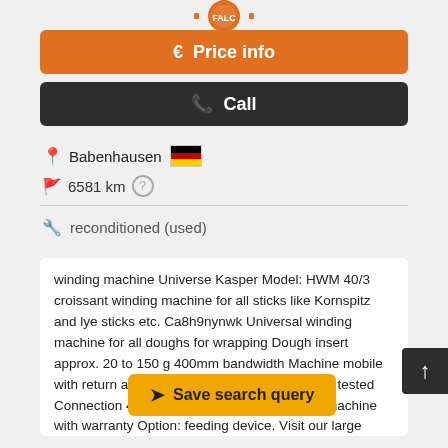[Figure (logo): Orange gear/cog badge logo at top center]
€ Price info
✆ Call
Babenhausen 🇩🇪
6581 km ?
reconditioned (used)
winding machine Universe Kasper Model: HWM 40/3 croissant winding machine for all sticks like Kornspitz and lye sticks etc. Ca8h9nynwk Universal winding machine for all doughs for wrapping Dough insert approx. 20 to 150 g 400mm bandwidth Machine mobile with return all belts and wipers NEW DGUV V3 tested Connection 400V, 1 kW, 16A-CEE plug Used machine with warranty Option: feeding device. Visit our large stock warehouse with over 400 bakery machines!
Save search query